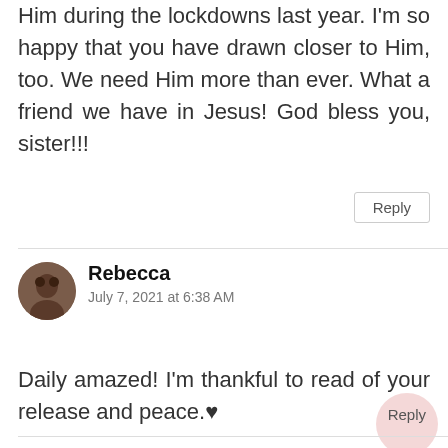Him during the lockdowns last year. I'm so happy that you have drawn closer to Him, too. We need Him more than ever. What a friend we have in Jesus! God bless you, sister!!!
Reply
Rebecca
July 7, 2021 at 6:38 AM
Daily amazed! I'm thankful to read of your release and peace.♥
Reply